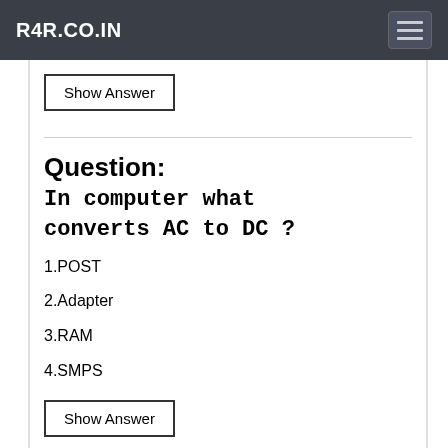R4R.CO.IN
Show Answer
Question: In computer what converts AC to DC ?
1.POST
2.Adapter
3.RAM
4.SMPS
Show Answer